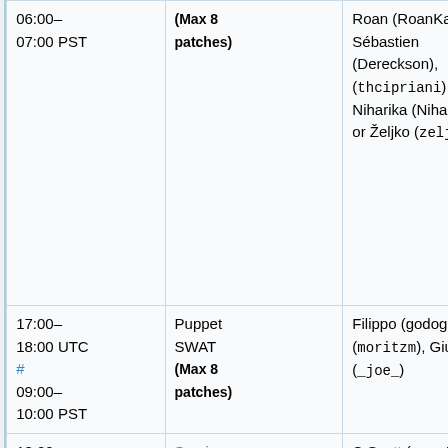| (sidebar) | Time | Type | Names |
| --- | --- | --- | --- |
|  | 06:00–07:00 PST | (Max 8 patches) | Roan (RoanKa Sébastien (Dereckson), (thcipriani) Niharika (Niha or Željko (zelj |
|  | 17:00–18:00 UTC # 09:00–10:00 PST | Puppet SWAT (Max 8 patches) | Filippo (godog) (moritzm), Giu (_joe_) |
|  | 18:00–19:00 UTC # 10:00–11:00 PST | Services – Graphoid / Parsoid / Citoid / ORES | C.Scott (cscot (arlolra), Sub (subbu), Aaron (halfak), Amir (Amir1) |
|  |  |  | addshore, Ant (hashar), Brad (anomie), Cha |